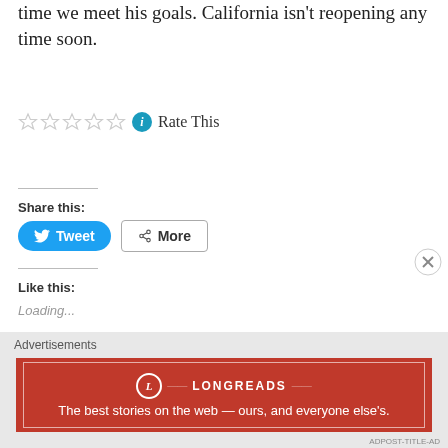time we meet his goals. California isn't reopening any time soon.
Rate This
Share this:
Tweet
More
Like this:
Loading...
Advertisements
[Figure (logo): Longreads advertisement banner: red background with Longreads logo and tagline 'The best stories on the web — ours, and everyone else's.']